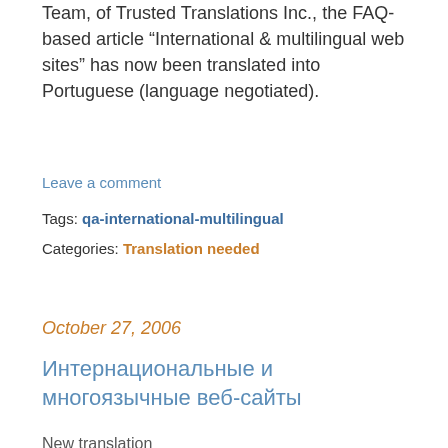Team, of Trusted Translations Inc., the FAQ-based article “International & multilingual web sites” has now been translated into Portuguese (language negotiated).
Leave a comment
Tags: qa-international-multilingual
Categories: Translation needed
October 27, 2006
Интернациональные и многоязычные веб-сайты
New translation